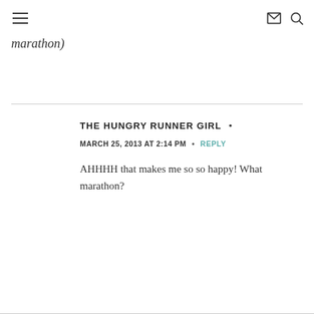[hamburger menu icon] [mail icon] [search icon]
marathon)
THE HUNGRY RUNNER GIRL  •
MARCH 25, 2013 AT 2:14 PM  •  REPLY
AHHHH that makes me so so happy! What marathon?